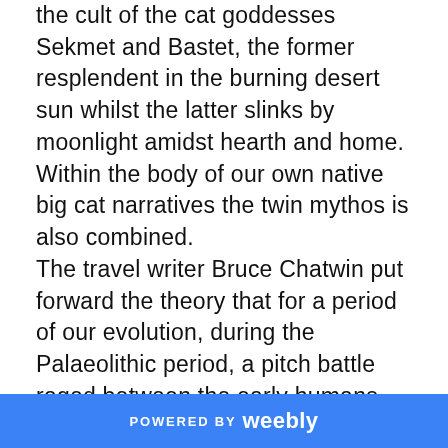the cult of the cat goddesses Sekmet and Bastet, the former resplendent in the burning desert sun whilst the latter slinks by moonlight amidst hearth and home. Within the body of our own native big cat narratives the twin mythos is also combined. The travel writer Bruce Chatwin put forward the theory that for a period of our evolution, during the Palaeolithic period, a pitch battle raged between the early humans and a species of big cat speculatively entitled “Dinofelis”. Whilst we inhabited the shelter of the mouths of the caves Dinofelis inhabited their depths, emerging periodically to feed on its primary food source ...humans! Somewhere
POWERED BY weebly